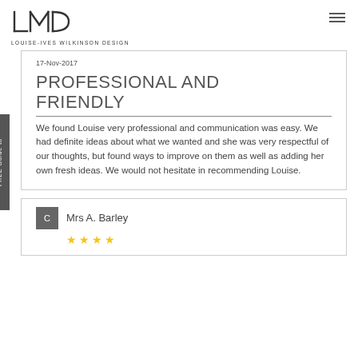LOUISE-IVES WILKINSON DESIGN
17-Nov-2017
PROFESSIONAL AND FRIENDLY
We found Louise very professional and communication was easy. We had definite ideas about what we wanted and she was very respectful of our thoughts, but found ways to improve on them as well as adding her own fresh ideas. We would not hesitate in recommending Louise.
Mrs A. Barley